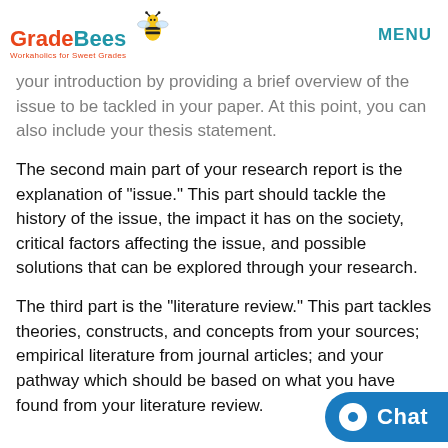GradeBees — Workaholics for Sweet Grades | MENU
your introduction by providing a brief overview of the issue to be tackled in your paper. At this point, you can also include your thesis statement.
The second main part of your research report is the explanation of “issue.” This part should tackle the history of the issue, the impact it has on the society, critical factors affecting the issue, and possible solutions that can be explored through your research.
The third part is the “literature review.” This part tackles theories, constructs, and concepts from your sources; empirical literature from journal articles; and your pathway which should be based on what you have found from your literature review.